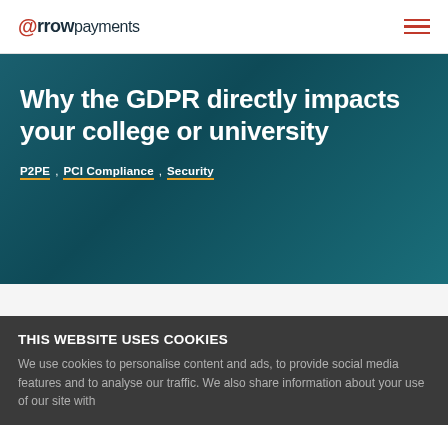@rrowpayments
Why the GDPR directly impacts your college or university
P2PE, PCI Compliance, Security
THIS WEBSITE USES COOKIES
We use cookies to personalise content and ads, to provide social media features and to analyse our traffic. We also share information about your use of our site with